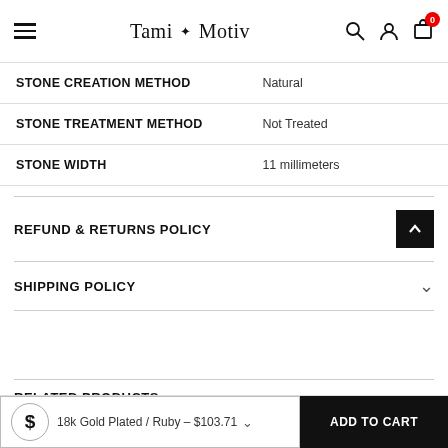Tami Motiv
| STONE CREATION METHOD | Natural |
| STONE TREATMENT METHOD | Not Treated |
| STONE WIDTH | 11 millimeters |
REFUND & RETURNS POLICY
SHIPPING POLICY
RELATED PRODUCTS
18k Gold Plated / Ruby – $103.71
ADD TO CART